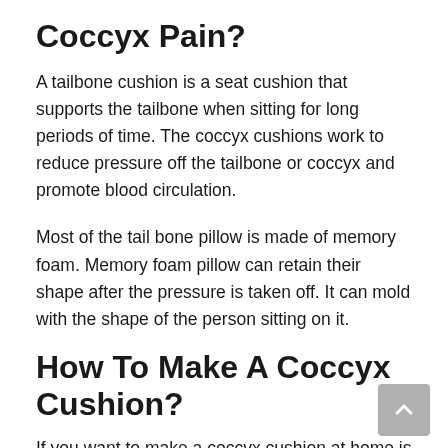Coccyx Pain?
A tailbone cushion is a seat cushion that supports the tailbone when sitting for long periods of time. The coccyx cushions work to reduce pressure off the tailbone or coccyx and promote blood circulation.
Most of the tail bone pillow is made of memory foam. Memory foam pillow can retain their shape after the pressure is taken off. It can mold with the shape of the person sitting on it.
How To Make A Coccyx Cushion?
If you want to make a coccyx cushion at home is very easy. Cut a piece of gel rubber or foam